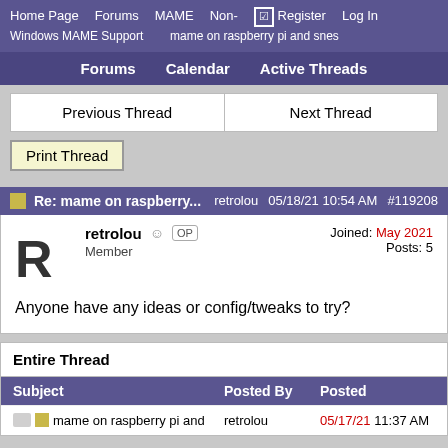Home Page  Forums  MAME  Non-Windows MAME Support  ☑ Register  Log In  mame on raspberry pi and snes
Forums  Calendar  Active Threads
Previous Thread  Next Thread
Print Thread
Re: mame on raspberry...  retrolou  05/18/21 10:54 AM  #119208
retrolou OP Member  Joined: May 2021  Posts: 5
Anyone have any ideas or config/tweaks to try?
Entire Thread
| Subject | Posted By | Posted |
| --- | --- | --- |
| mame on raspberry pi and | retrolou | 05/17/21 11:37 AM |